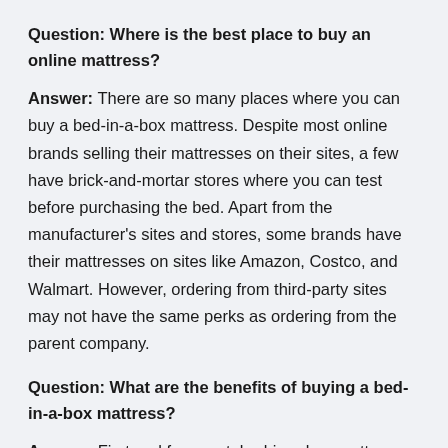Question: Where is the best place to buy an online mattress?
Answer: There are so many places where you can buy a bed-in-a-box mattress. Despite most online brands selling their mattresses on their sites, a few have brick-and-mortar stores where you can test before purchasing the bed. Apart from the manufacturer's sites and stores, some brands have their mattresses on sites like Amazon, Costco, and Walmart. However, ordering from third-party sites may not have the same perks as ordering from the parent company.
Question: What are the benefits of buying a bed-in-a-box mattress?
Answer: First and foremost, bed-in-a-box mattresses are cheaper than beds sold in physical stores. Secondly, you're given enough time to detect if the bed is built for you or not.